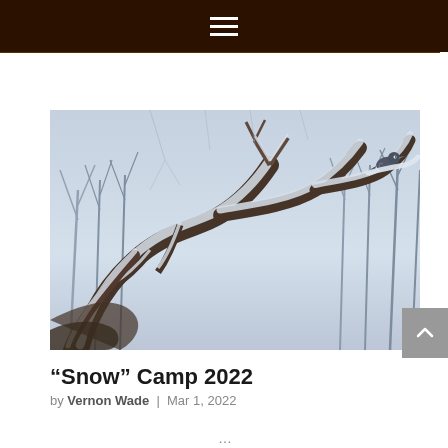Navigation menu (hamburger icon)
[Figure (photo): A small bird perched on a snow-covered tree branch with bare winter trees and a pale grey-blue sky in the background.]
“Snow” Camp 2022
by Vernon Wade | Mar 1, 2022
...